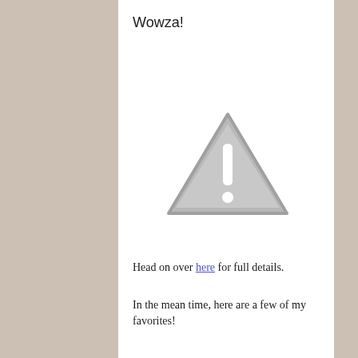Wowza!
[Figure (illustration): Warning triangle icon with exclamation mark, rendered in grey]
Head on over here for full details.
In the mean time, here are a few of my favorites!